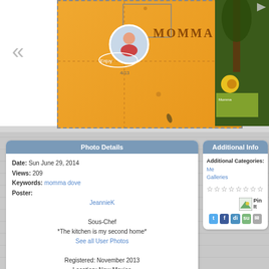[Figure (screenshot): Gallery image carousel showing scrapbook pages. Center image is golden-yellow with 'MOMMA' text and circular photo. Right image shows nature/garden scene with flowers.]
| Photo Details |
| --- |
| Date: | Sun June 29, 2014 |
| Views: | 209 |
| Keywords: | momma dove |
| Poster: |  |
|  | JeannieK |
|  | Sous-Chef |
|  | *The kitchen is my second home* |
|  | See all User Photos |
|  | Registered: November 2013 |
|  | Location: New Mexico |
|  | Posts: 343 |
| Additional Info |
| --- |
| Additional Categories: | Me Galleries |